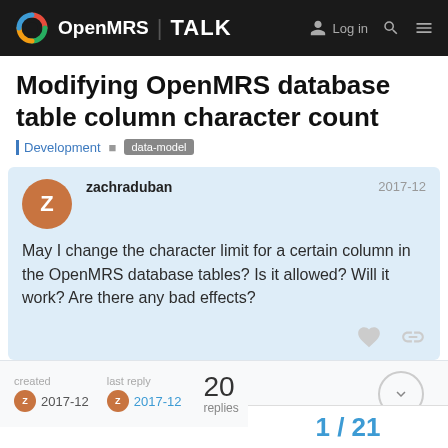OpenMRS TALK
Modifying OpenMRS database table column character count
Development  data-model
zachraduban  2017-12
May I change the character limit for a certain column in the OpenMRS database tables? Is it allowed? Will it work? Are there any bad effects?
created  2017-12   last reply  2017-12   20 replies
1 / 21